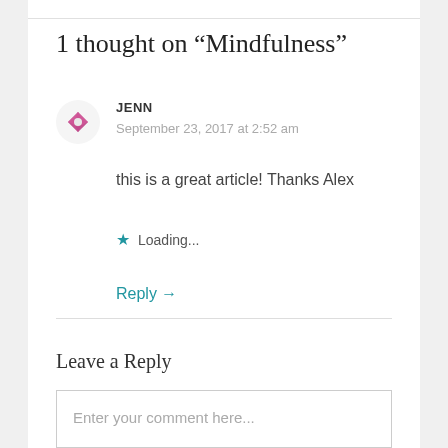1 thought on “Mindfulness”
JENN
September 23, 2017 at 2:52 am

this is a great article! Thanks Alex

★ Loading...

Reply →
Leave a Reply
Enter your comment here...